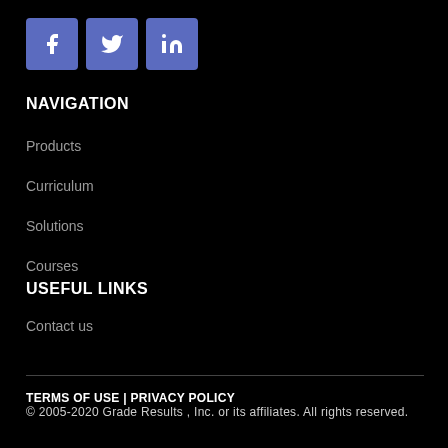[Figure (logo): Social media icons: Facebook, Twitter, LinkedIn — white icons on blue/purple rounded square backgrounds]
NAVIGATION
Products
Curriculum
Solutions
Courses
USEFUL LINKS
Contact us
TERMS OF USE | PRIVACY POLICY
© 2005-2020 Grade Results , Inc. or its affiliates. All rights reserved.